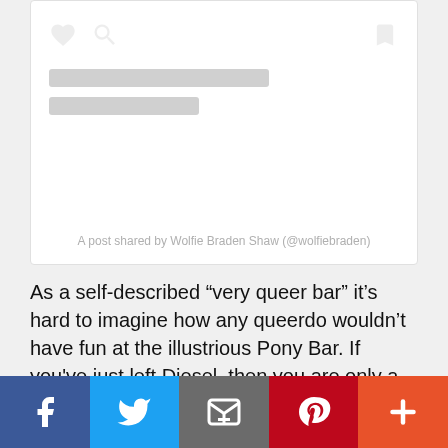[Figure (screenshot): Instagram embedded post loading placeholder card with heart, speech bubble, and bookmark icons, two skeleton loading bars, and caption text 'A post shared by Wolfie Braden Shaw (@wolfiebraden)']
A post shared by Wolfie Braden Shaw (@wolfiebraden)
As a self-described “very queer bar” it’s hard to imagine how any queerdo wouldn’t have fun at the illustrious Pony Bar. If you've just left Diesel, then you are only a 2-minute walk away from one hell of a Gay Dive! During this stroll, you will find yourself
[Figure (infographic): Social media share bar with five buttons: Facebook (blue), Twitter (light blue), Email (grey), Pinterest (red), More/Plus (orange-red)]